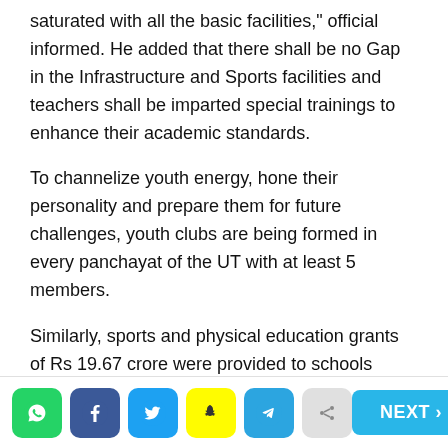saturated with all the basic facilities," official informed. He added that there shall be no Gap in the Infrastructure and Sports facilities and teachers shall be imparted special trainings to enhance their academic standards.
To channelize youth energy, hone their personality and prepare them for future challenges, youth clubs are being formed in every panchayat of the UT with at least 5 members.
Similarly, sports and physical education grants of Rs 19.67 crore were provided to schools through district officers for procurement of sports equipment for the